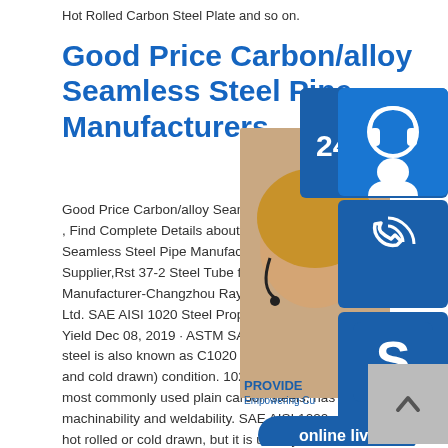Hot Rolled Carbon Steel Plate and so on.
Good Price Carbon/alloy Seamless Steel Pipe Manufacturers
Good Price Carbon/alloy Seamless Steel Pipe , Find Complete Details about Good Price Carbon/alloy Seamless Steel Pipe Manufacturers,Steel Tube Supplier,Rst 37-2 Steel Tube from Steel Pipe Manufacturer-Changzhou Raymond International Ltd. SAE AISI 1020 Steel Properties, C1020 Yield Dec 08, 2019 · ASTM SAE AISI 1020 Steel steel is also known as C1020 steel in cold worked (cold rolled and cold drawn) condition. 1020 carbon steel is one of the most commonly used plain carbon steels, has good machinability and weldability. SAE AISI 1020 mild steel can be hot rolled or cold drawn, but it is usually in turned and polished or cold
[Figure (infographic): Customer service widget overlay showing 24/7 support icons including headset, phone, Skype icons on blue backgrounds, a woman with headset, PROVIDE/Empowering Customers text, and an orange 'online live' button]